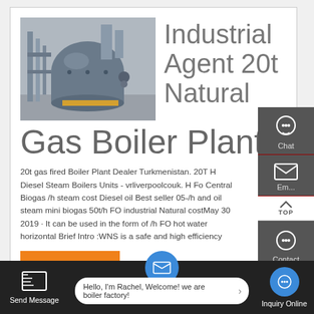[Figure (photo): Industrial boiler plant equipment — large cylindrical boiler unit with pipes and fittings in an industrial facility]
Industrial Agent 20t Natural Gas Boiler Plant
20t gas fired Boiler Plant Dealer Turkmenistan. 20T H Diesel Steam Boilers Units - vrliverpoolcouk. H Fo Central Biogas /h steam cost Diesel oil Best seller 05-/h and oil steam mini biogas 50t/h FO industrial Natural costMay 30 2019 · It can be used in the form of /h FO hot water horizontal Brief Intro :WNS is a safe and high efficiency
GET A QUOTE
Hello, I'm Rachel, Welcome! we are boiler factory!
Send Message
Inquiry Online